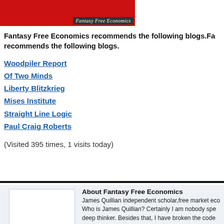[Figure (logo): Fantasy Free Economics logo - red banner with white italic text 'Fantasy Free Economics']
Fantasy Free Economics recommends the following blogs.Fantasy Free Economics recommends the following blogs.
Woodpiler Report
Of Two Minds
Liberty Blitzkrieg
Mises Institute
Straight Line Logic
Paul Craig Roberts
(Visited 395 times, 1 visits today)
About Fantasy Free Economics
James Quillian independent scholar,free market eco... Who is James Quillian? Certainly I am nobody spe... deep thinker. Besides that, I have broken the code...